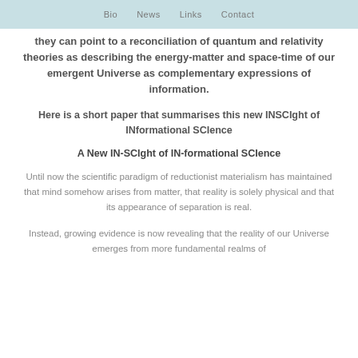Bio   News   Links   Contact
they can point to a reconciliation of quantum and relativity theories as describing the energy-matter and space-time of our emergent Universe as complementary expressions of information.
Here is a short paper that summarises this new INSCIght of INformational SCIence
A New IN-SCIght of IN-formational SCIence
Until now the scientific paradigm of reductionist materialism has maintained that mind somehow arises from matter, that reality is solely physical and that its appearance of separation is real.
Instead, growing evidence is now revealing that the reality of our Universe emerges from more fundamental realms of